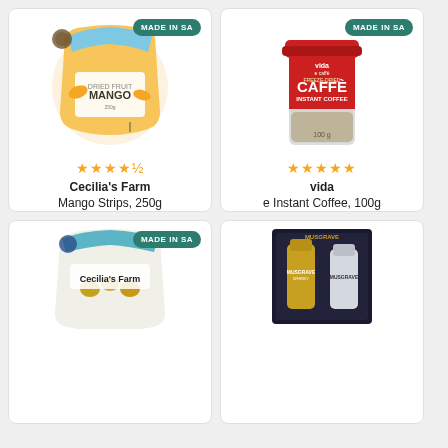[Figure (photo): Cecilia's Farm Mango Strips 250g product bag with MADE IN SA badge]
★★★★½
Cecilia's Farm
Mango Strips, 250g
R119
[Figure (photo): vida e caffè Freeze-Dried Caffè Instant Coffee 100g jar with MADE IN SA badge]
★★★★★
vida
e Instant Coffee, 100g
R95
[Figure (photo): Cecilia's Farm mixed nuts product bag with MADE IN SA badge]
[Figure (photo): Musgrave whisky gift box set]